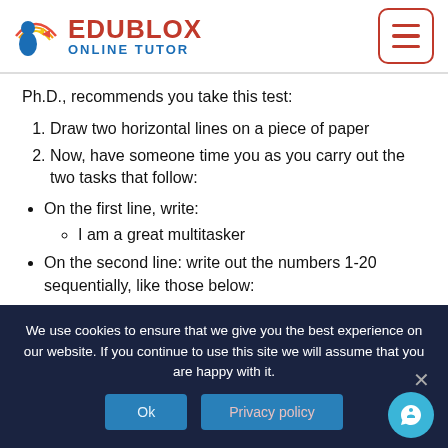[Figure (logo): Edublox Online Tutor logo with colorful human figure icon and red/blue text]
Ph.D., recommends you take this test:
1. Draw two horizontal lines on a piece of paper
2. Now, have someone time you as you carry out the two tasks that follow:
On the first line, write:
I am a great multitasker
On the second line: write out the numbers 1-20 sequentially, like those below:
We use cookies to ensure that we give you the best experience on our website. If you continue to use this site we will assume that you are happy with it.